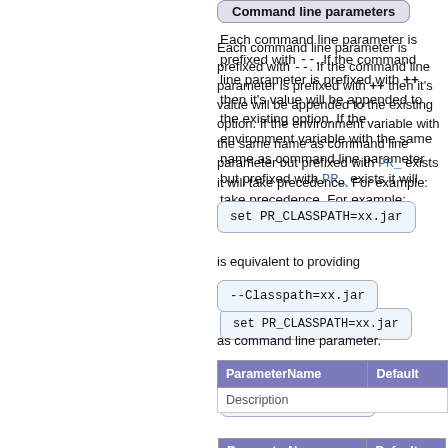Command line parameters
Each command line parameter is prefixed with --. If the command line parameter is prefixed with ++ then it's value will be appended to the existing option. If the environment variable with the same name as command line parameter but prefixed with PR_ exists it will take precedence. For example:
set PR_CLASSPATH=xx.jar
is equivalent to providing
--Classpath=xx.jar
as command line parameter.
| ParameterName | Default |
| --- | --- |
| Description |  |